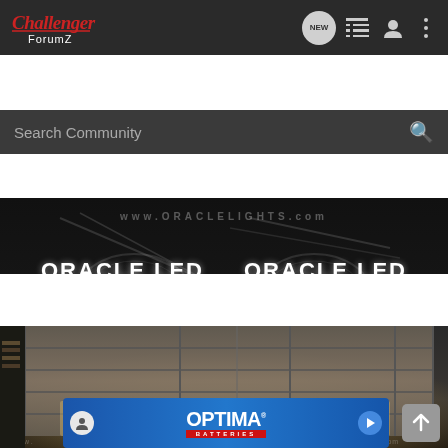[Figure (screenshot): Challenger ForumZ website header navigation bar with logo on left and icons (NEW, list, user, menu) on right, dark background]
[Figure (screenshot): Search Community search bar with magnifying glass icon, dark grey background]
[Figure (photo): Dark photo showing Oracle LED headlight rings with text 'ORACLE LED' appearing twice side by side, with www.ORACLELIGHTS.com watermark]
[Figure (photo): Photo of a garage illuminated by warm LED lights hitting a metal roll-up garage door, with www watermark text visible, and a back-to-top arrow button overlay]
[Figure (other): Optima Batteries advertisement banner with blue gradient background, Optima logo in white bold text with red Batteries stripe]